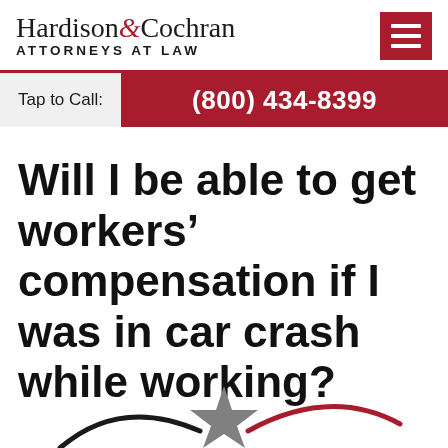Hardison & Cochran ATTORNEYS AT LAW
Tap to Call: (800) 434-8399
Will I be able to get workers’ compensation if I was in car crash while working?
[Figure (logo): Partial decorative graphic at bottom of page showing curved lines and a star shape in black, gray, and red]